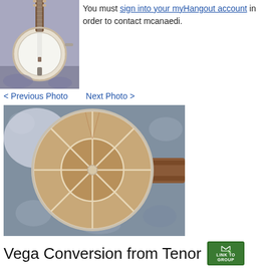[Figure (photo): Photo of a banjo leaning against a wall with floral fabric visible]
You must sign into your myHangout account in order to contact mcanaedi.
< Previous Photo   Next Photo >
[Figure (photo): Close-up top-down view of a wooden banjo head/resonator showing wood grain segments divided by white lines in a circular pattern, with the neck visible on the right side, resting on floral patterned fabric]
Vega Conversion from Tenor